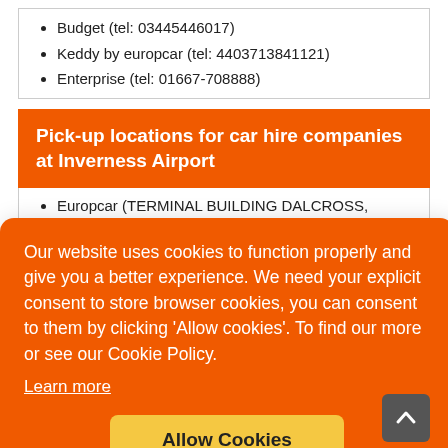Budget (tel: 03445446017)
Keddy by europcar (tel: 4403713841121)
Enterprise (tel: 01667-708888)
Pick-up locations for car hire companies at Inverness Airport
Europcar (TERMINAL BUILDING DALCROSS, DALCROSS, INVERNESS, IV2 7JB)
Our website uses cookies to function properly and give you a better experience. We need your explicit consent to store browser cookies, you can consent to them by clicking ‘Allow cookies’. To find our more or see our Cookie Policy.
Learn more
Allow Cookies
ARNOLD CLARK CAR & VAN RENTAL: Rated 8.5/10 from 44